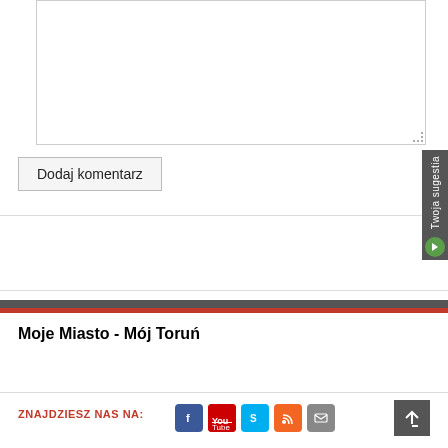[Figure (screenshot): Text area input box (empty) with resize handle at bottom-right corner]
Dodaj komentarz
[Figure (screenshot): Twoja sugestia sidebar tab on the right with green arrow button]
Moje Miasto - Mój Toruń
ZNAJDZIESZ NAS NA:
[Figure (screenshot): Social media icons: Facebook, YouTube, Skype, RSS, Email]